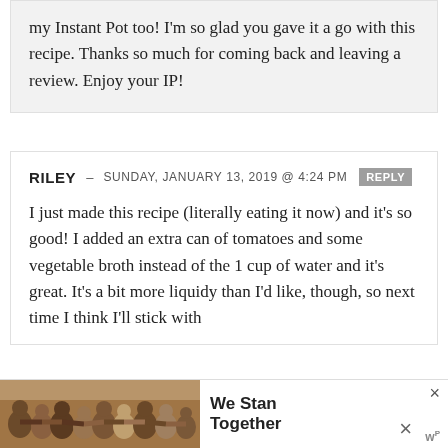my Instant Pot too! I'm so glad you gave it a go with this recipe. Thanks so much for coming back and leaving a review. Enjoy your IP!
RILEY – SUNDAY, JANUARY 13, 2019 @ 4:24 PM [REPLY]
I just made this recipe (literally eating it now) and it's so good! I added an extra can of tomatoes and some vegetable broth instead of the 1 cup of water and it's great. It's a bit more liquidy than I'd like, though, so next time I think I'll stick with
[Figure (photo): Advertisement banner at the bottom: group of people with backs turned, arms around each other. Text reads 'We Stand Together' with a close (X) button and a 'w' logo.]